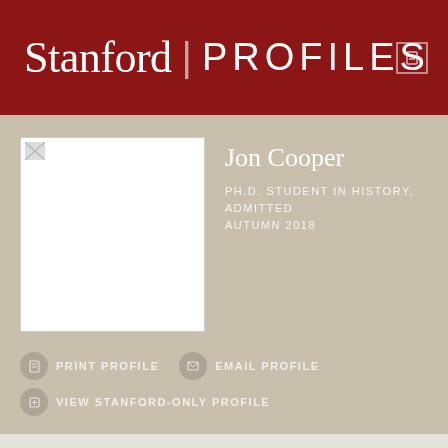Stanford | PROFILES
Jon Cooper
PH.D. STUDENT IN HISTORY, ADMITTED AUTUMN 2018
PRINT PROFILE
EMAIL PROFILE
VIEW STANFORD-ONLY PROFILE
TAB MENU
Bio